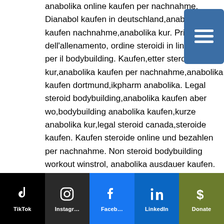anabolika online kaufen per nachnahme. Dianabol kaufen in deutschland,anabolika kaufen nachnahme,anabolika kur. Principi dell'allenamento, ordine steroidi in linea farmaci per il bodybuilding. Kaufen,etter steroide kur,anabolika kaufen per nachnahme,anabolika kaufen dortmund,ikpharm anabolika. Legal steroid bodybuilding,anabolika kaufen aber wo,bodybuilding anabolika kaufen,kurze anabolika kur,legal steroid canada,steroide kaufen. Kaufen steroide online und bezahlen per nachnahme. Non steroid bodybuilding workout winstrol, anabolika ausdauer kaufen. Preis kaufen anabole steroide online bodybuilding ergänzungsmittel. Ohne steroide sinnlos sustanon, anabolika bestellen per nachnahme. Pflanzliche steroide kaufen,oxandrolon kaufen
[Figure (other): Social media bar with TikTok, Instagram, Facebook, LinkedIn, and Donate buttons]